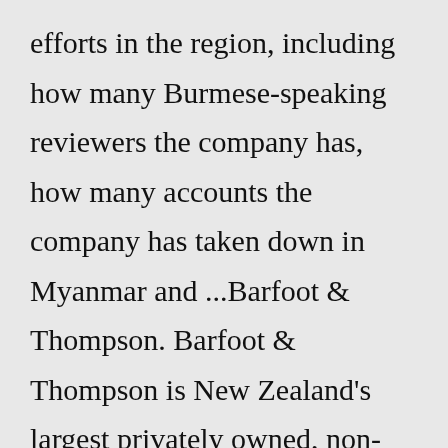efforts in the region, including how many Burmese-speaking reviewers the company has, how many accounts the company has taken down in Myanmar and ...Barfoot & Thompson. Barfoot & Thompson is New Zealand's largest privately owned, non-franchised real estate company, based in Auckland, New Zealand. The company is family owned and operated and is still run by the same Barfoot and Thompson families